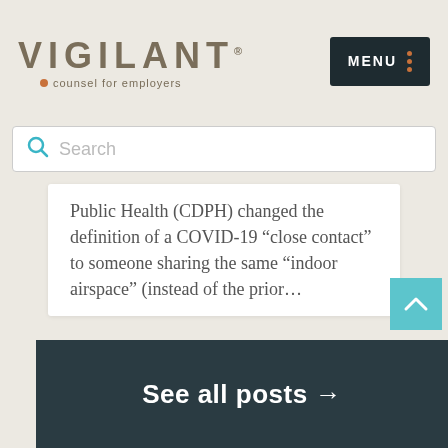[Figure (logo): Vigilant - counsel for employers logo with brown text and orange dot]
Search
Public Health (CDPH) changed the definition of a COVID-19 “close contact” to someone sharing the same “indoor airspace” (instead of the prior...
READ MORE...
See all posts →